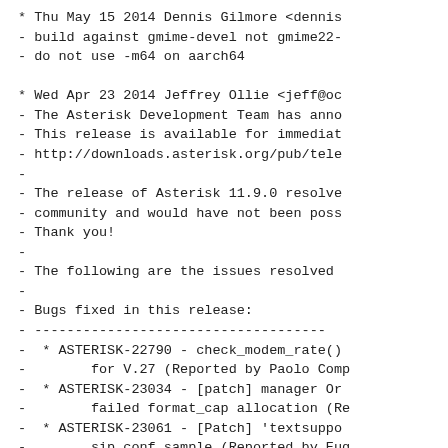* Thu May 15 2014 Dennis Gilmore <dennis
- build against gmime-devel not gmime22-
- do not use -m64 on aarch64
* Wed Apr 23 2014 Jeffrey Ollie <jeff@oc
- The Asterisk Development Team has anno
- This release is available for immediat
- http://downloads.asterisk.org/pub/tele
-
- The release of Asterisk 11.9.0 resolve
- community and would have not been poss
- Thank you!
-
- The following are the issues resolved
-
- Bugs fixed in this release:
- -----------------------------------
-   * ASTERISK-22790 - check_modem_rate()
-         for V.27 (Reported by Paolo Comp
-   * ASTERISK-23034 - [patch] manager Or
-         failed format_cap allocation (Re
-   * ASTERISK-23061 - [Patch] 'textsuppo
-         sip.conf.sample (Reported by Eug